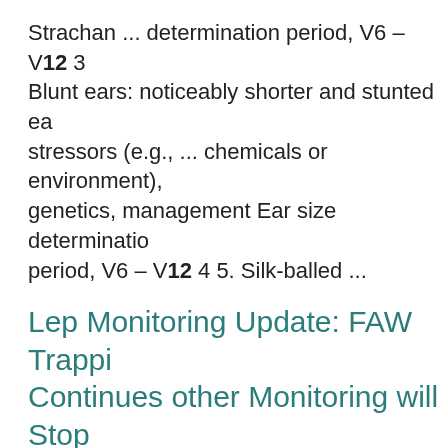Strachan ... determination period, V6 – V12 3 Blunt ears: noticeably shorter and stunted ea stressors (e.g., ... chemicals or environment), genetics, management Ear size determination period, V6 – V12 4 5. Silk-balled ...
Lep Monitoring Update: FAW Trapping Continues other Monitoring will Stop
https://agcrops.osu.edu/newsletter/corn-newsletter/2 28/lep-monitoring-update-faw-trapping-continues- monitoring
highest moth count with an average of 12 mo over the past week. We will no longer be rep on CEW ...